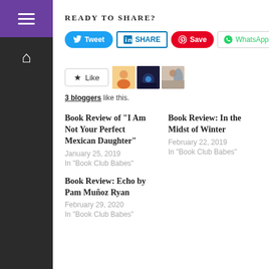READY TO SHARE?
[Figure (screenshot): Social share buttons: Tweet (Twitter), SHARE (LinkedIn), Save (Pinterest), WhatsApp]
[Figure (screenshot): Like button with star icon and three blogger avatar thumbnails]
3 bloggers like this.
Book Review of “I Am Not Your Perfect Mexican Daughter”
January 25, 2019
In "Book Club Babes"
Book Review: In the Midst of Winter
February 22, 2019
In "Book Club Babes"
Book Review: Echo by Pam Muñoz Ryan
February 29, 2020
In "Book Club Babes"